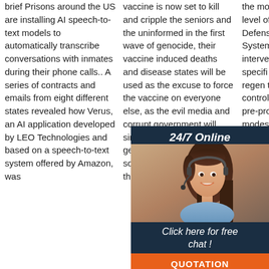brief Prisons around the US are installing AI speech-to-text models to automatically transcribe conversations with inmates during their phone calls.. A series of contracts and emails from eight different states revealed how Verus, an AI application developed by LEO Technologies and based on a speech-to-text system offered by Amazon, was
vaccine is now set to kill and cripple the seniors and the uninformed in the first wave of genocide, their vaccine induced deaths and disease states will be used as the excuse to force the vaccine on everyone else, as the evil media and corrupt government will simply re-label the medical genocide as COVID-19 or something more deadly than COVID.
the motorcycle and the level of Reflex ™ Defensive Rider Systems (RDRS) interve... Ride M... consis... specifi... combin... power, regen... throttle... and tra... control... LiveWi... with four pre-programmed modes: sport, road, range, and ...
[Figure (photo): Advertisement overlay showing a woman wearing a headset with '24/7 Online' header, 'Click here for free chat!' text, and an orange QUOTATION button on a dark navy background]